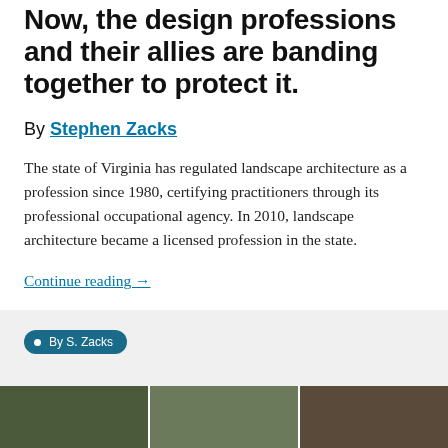Now, the design professions and their allies are banding together to protect it.
By Stephen Zacks
The state of Virginia has regulated landscape architecture as a profession since 1980, certifying practitioners through its professional occupational agency. In 2010, landscape architecture became a licensed profession in the state.
Continue reading →
• By S. Zacks
[Figure (photo): Photo strip at bottom of page showing outdoor/landscape scenes]